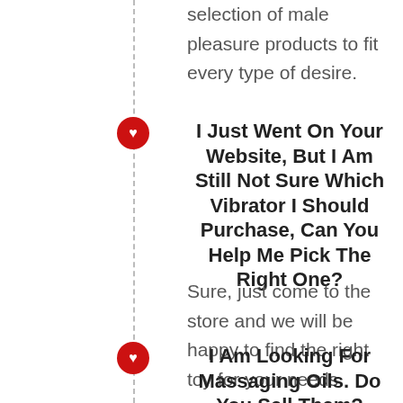selection of male pleasure products to fit every type of desire.
I Just Went On Your Website, But I Am Still Not Sure Which Vibrator I Should Purchase, Can You Help Me Pick The Right One?
Sure, just come to the store and we will be happy to find the right toy for your needs.
I Am Looking For Massaging Oils. Do You Sell Them?
We sell massage oils from the best manufacturers in the business. Feel free to come by